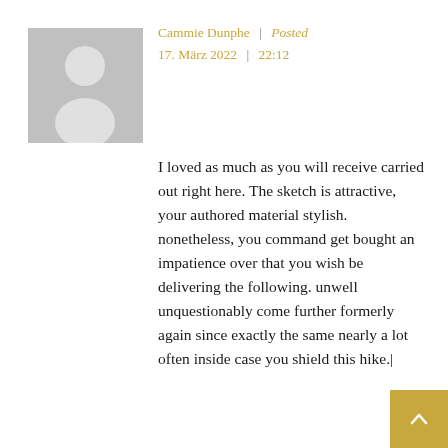[Figure (illustration): Gray placeholder avatar silhouette of a person on a light gray background]
Cammie Dunphe  |  Posted
17. März 2022  |  22:12
I loved as much as you will receive carried out right here. The sketch is attractive, your authored material stylish. nonetheless, you command get bought an impatience over that you wish be delivering the following. unwell unquestionably come further formerly again since exactly the same nearly a lot often inside case you shield this hike.|